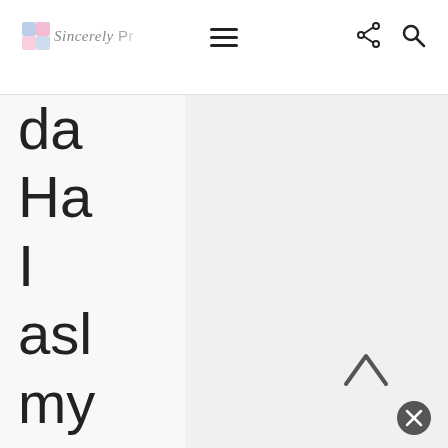Sincerely Pr [logo/navigation bar with hamburger menu, share icon, search icon]
da Ha I asl my Mo if she co fin me so da the oth da